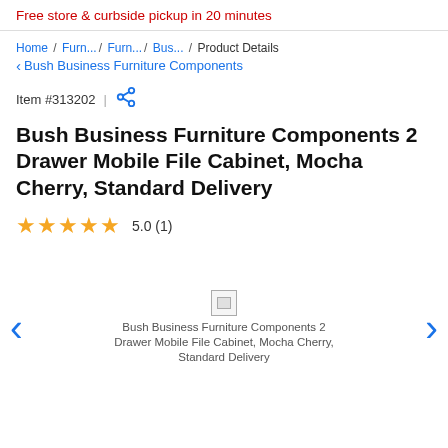Free store & curbside pickup in 20 minutes
Home / Furn.../ Furn.../ Bus... / Product Details
< Bush Business Furniture Components
Item #313202 |
Bush Business Furniture Components 2 Drawer Mobile File Cabinet, Mocha Cherry, Standard Delivery
5.0 (1)
[Figure (photo): Product image placeholder for Bush Business Furniture Components 2 Drawer Mobile File Cabinet, Mocha Cherry, Standard Delivery]